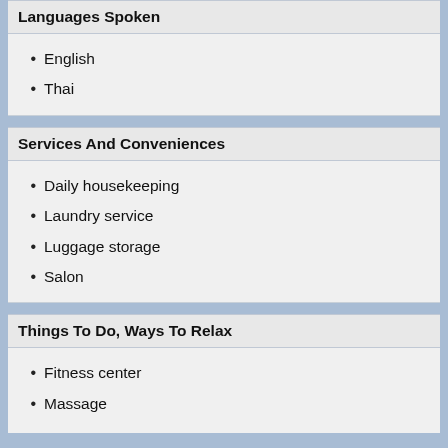Languages Spoken
English
Thai
Services And Conveniences
Daily housekeeping
Laundry service
Luggage storage
Salon
Things To Do, Ways To Relax
Fitness center
Massage